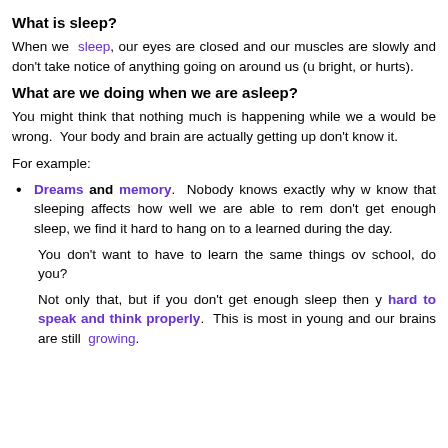What is sleep?
When we sleep, our eyes are closed and our muscles are slowly and don't take notice of anything going on around us (u bright, or hurts).
What are we doing when we are asleep?
You might think that nothing much is happening while we a would be wrong. Your body and brain are actually getting up don't know it.
For example:
Dreams and memory. Nobody knows exactly why w know that sleeping affects how well we are able to rem don't get enough sleep, we find it hard to hang on to a learned during the day.
You don't want to have to learn the same things ov school, do you?
Not only that, but if you don't get enough sleep then y hard to speak and think properly. This is most in young and our brains are still growing.